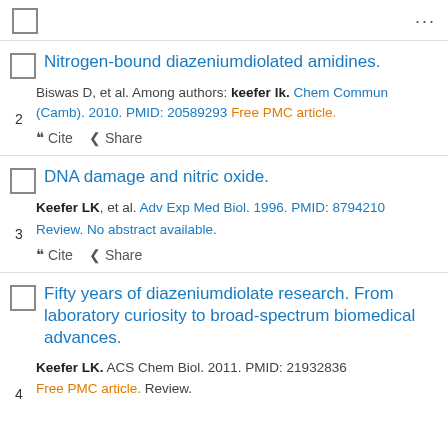...
Nitrogen-bound diazeniumdiolated amidines. Biswas D, et al. Among authors: keefer lk. Chem Commun (Camb). 2010. PMID: 20589293 Free PMC article.
DNA damage and nitric oxide. Keefer LK, et al. Adv Exp Med Biol. 1996. PMID: 8794210 Review. No abstract available.
Fifty years of diazeniumdiolate research. From laboratory curiosity to broad-spectrum biomedical advances. Keefer LK. ACS Chem Biol. 2011. PMID: 21932836 Free PMC article. Review.